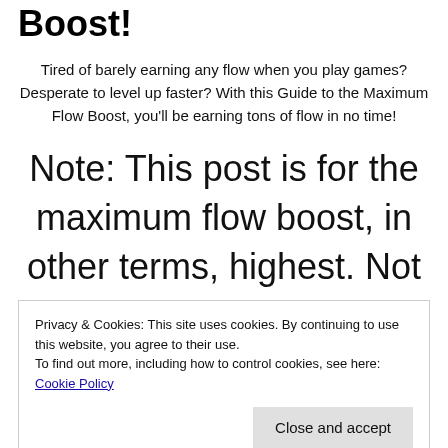Boost!
Tired of barely earning any flow when you play games? Desperate to level up faster? With this Guide to the Maximum Flow Boost, you’ll be earning tons of flow in no time!
Note: This post is for the maximum flow boost,  in other terms, highest. Not all flow boost items. Only the
Privacy & Cookies: This site uses cookies. By continuing to use this website, you agree to their use.
To find out more, including how to control cookies, see here: Cookie Policy
and Group Boosts.)